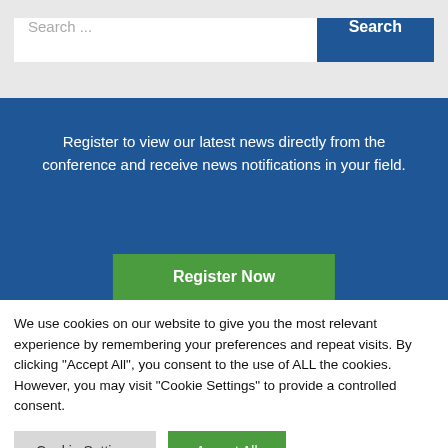Search ...
Register to view our latest news directly from the conference and receive news notifications in your field.
Register Now
We use cookies on our website to give you the most relevant experience by remembering your preferences and repeat visits. By clicking "Accept All", you consent to the use of ALL the cookies. However, you may visit "Cookie Settings" to provide a controlled consent.
Cookie Settings
Accept All